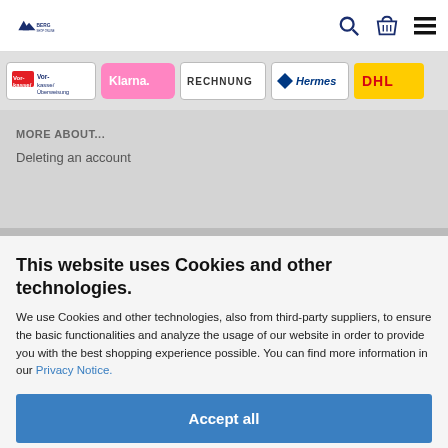BERG shop navigation bar with logo, search, basket, and menu icons
[Figure (logo): Payment and delivery logos strip: Vorkasse/Überweisung, Klarna, RECHNUNG, Hermes, DHL]
MORE ABOUT...
Deleting an account
This website uses Cookies and other technologies.
We use Cookies and other technologies, also from third-party suppliers, to ensure the basic functionalities and analyze the usage of our website in order to provide you with the best shopping experience possible. You can find more information in our Privacy Notice.
Accept all
More information